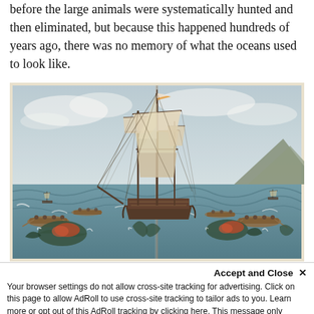before the large animals were systematically hunted and then eliminated, but because this happened hundreds of years ago, there was no memory of what the oceans used to look like.
[Figure (illustration): Historical painting of a whaling scene showing a large three-masted sailing barque surrounded by smaller rowing boats, with sailors hunting whales. The scene is painted in watercolor style showing rough seas, a mountain in the background, and multiple whale carcasses or surfacing whales around the vessel.]
ion of whaling barque Terror by Captain William Henry Dawson. This vividly
Accept and Close ✕
Your browser settings do not allow cross-site tracking for advertising. Click on this page to allow AdRoll to use cross-site tracking to tailor ads to you. Learn more or opt out of this AdRoll tracking by clicking here. This message only appears once.